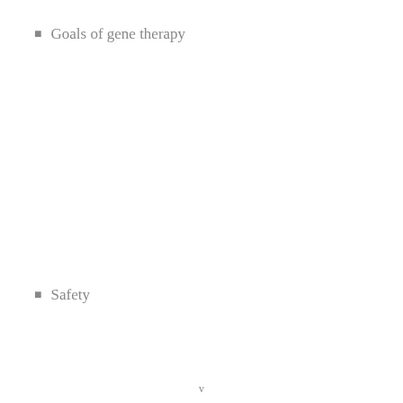Goals of gene therapy
Safety
v